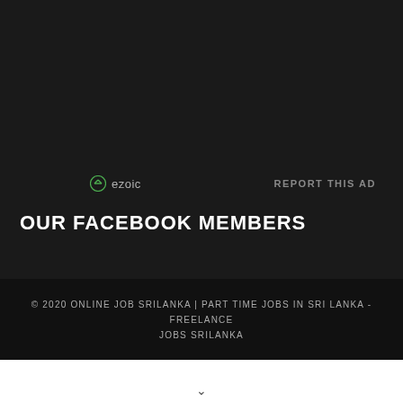[Figure (logo): Ezoic logo with green circle icon and text 'ezoic']
REPORT THIS AD
OUR FACEBOOK MEMBERS
© 2020 ONLINE JOB SRILANKA | PART TIME JOBS IN SRI LANKA - FREELANCE JOBS SRILANKA